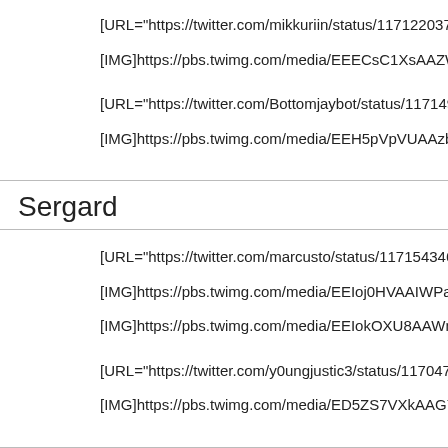[URL="https://twitter.com/mikkuriin/status/1171220371581865985"]S
[IMG]https://pbs.twimg.com/media/EEECsC1XsAAZWvp.jpg[/IMG]
[URL="https://twitter.com/Bottomjaybot/status/11714918779687034
[IMG]https://pbs.twimg.com/media/EEH5pVpVUAAzbUR.jpg[/IMG]
Sergard
[URL="https://twitter.com/marcusto/status/1171543462103126017"]
[IMG]https://pbs.twimg.com/media/EEIoj0HVAAIWPaU.jpg[/IMG]
[IMG]https://pbs.twimg.com/media/EEIokOXU8AAWnfB.jpg[/IMG]
[URL="https://twitter.com/y0ungjustic3/status/117047114554558873
[IMG]https://pbs.twimg.com/media/ED5ZS7VXkAAG71o.jpg[/IMG]
Zaresh